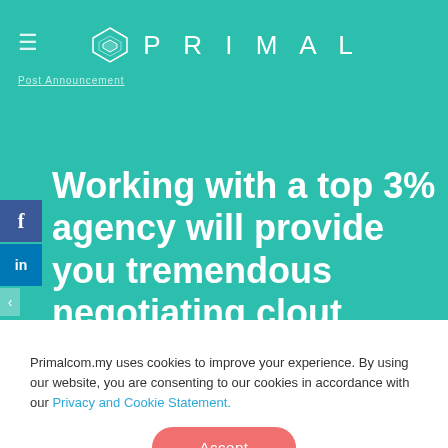PRIMAL
Post Announcement
Working with a top 3% agency will provide you tremendous negotiating clout
Primalcom.my uses cookies to improve your experience. By using our website, you are consenting to our cookies in accordance with our Privacy and Cookie Statement.
Accept